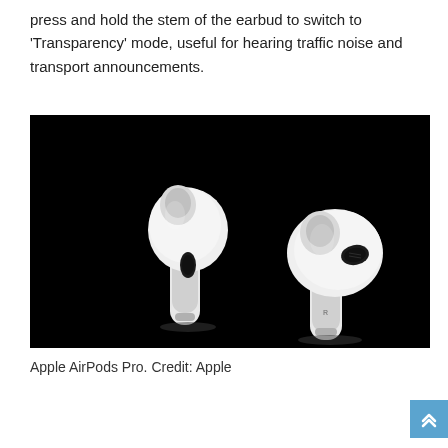press and hold the stem of the earbud to switch to 'Transparency' mode, useful for hearing traffic noise and transport announcements.
[Figure (photo): Two Apple AirPods Pro earbuds displayed against a black background. The left earbud is shown from the front-left angle and the right earbud is shown from a side angle, both showing the stem and ear tip design.]
Apple AirPods Pro. Credit: Apple